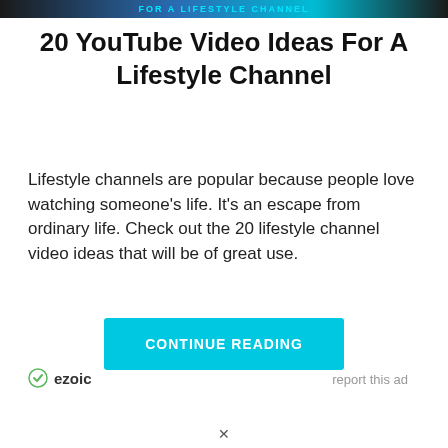FOR A LIFESTYLE CHANNEL
20 YouTube Video Ideas For A Lifestyle Channel
Lifestyle channels are popular because people love watching someone's life. It's an escape from ordinary life. Check out the 20 lifestyle channel video ideas that will be of great use.
CONTINUE READING
[Figure (logo): Ezoic logo with green shield icon and bold text 'ezoic']
report this ad